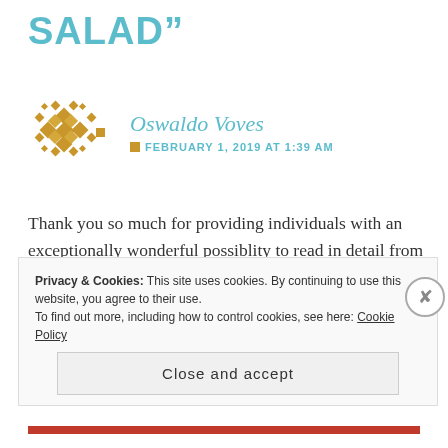SALAD"
[Figure (illustration): Diamond/mosaic pattern avatar icon made of small orange/golden squares arranged in a decorative geometric pattern]
Oswaldo Voves
FEBRUARY 1, 2019 AT 1:39 AM
Thank you so much for providing individuals with an exceptionally wonderful possiblity to read in detail from here. It’s usually so useful plus stuffed with a good time for me personally and my office fellow workers to search your site at the least three times in a week to find out the fresh stuff you have got. Of course, I’m so certainly astounded
Privacy & Cookies: This site uses cookies. By continuing to use this website, you agree to their use.
To find out more, including how to control cookies, see here: Cookie Policy
Close and accept